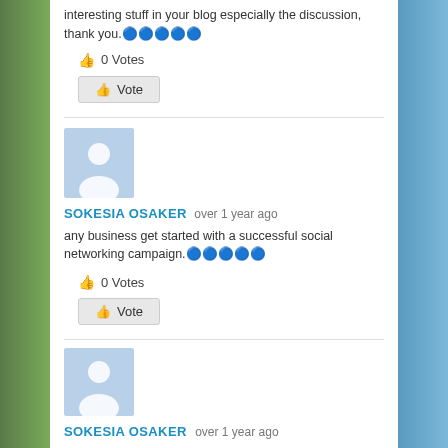interesting stuff in your blog especially the discussion, thank you.🔵🔵🔵🔵🔵
👍 0 Votes
👍 Vote
[Figure (illustration): Default user avatar placeholder - blue/grey silhouette of a person]
SOKESIA OSAKER over 1 year ago
any business get started with a successful social networking campaign.🔵🔵🔵🔵🔵
👍 0 Votes
👍 Vote
[Figure (illustration): Default user avatar placeholder - blue/grey silhouette of a person]
SOKESIA OSAKER over 1 year ago